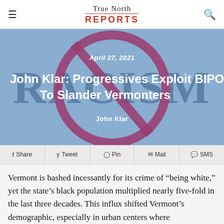True North REPORTS
[Figure (photo): Anti-racism 'no racism' sign (circle with diagonal slash over the word RACISM) in blue and purple tones, used as hero image background]
April 27, 2021
John Klar: Progressives Exploit BIPOC Migrants To Slander Vermonters
John Klar
Share  Tweet  Pin  Mail  SMS
Vermont is bashed incessantly for its crime of “being white,” yet the state’s black population multiplied nearly five-fold in the last three decades. This influx shifted Vermont’s demographic, especially in urban centers where undocumented visitors find resources. Now Vermont